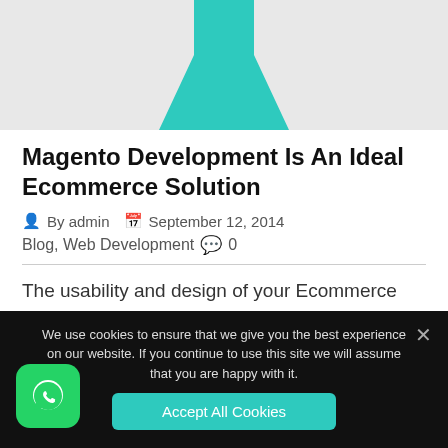[Figure (illustration): Partial view of a teal/cyan flask or beaker illustration on a light gray background]
Magento Development Is An Ideal Ecommerce Solution
By admin  September 12, 2014  Blog, Web Development  0
The usability and design of your Ecommerce website is critical to the success of your online business.
We use cookies to ensure that we give you the best experience on our website. If you continue to use this site we will assume that you are happy with it.